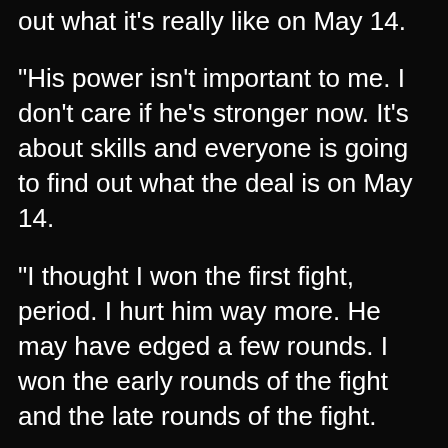out what it’s really like on May 14.
“His power isn’t important to me. I don’t care if he’s stronger now. It’s about skills and everyone is going to find out what the deal is on May 14.
“I thought I won the first fight, period. I hurt him way more. He may have edged a few rounds. I won the early rounds of the fight and the late rounds of the fight.
“I know I’m on a whole other level than he is and I’m going to present myself when it’s time. On May 14 I’m going to be peaking. I’m going